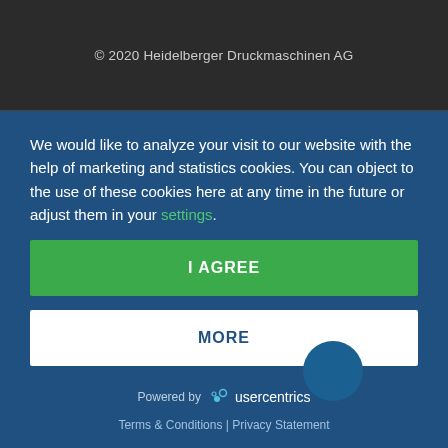© 2020 Heidelberger Druckmaschinen AG
We would like to analyze your visit to our website with the help of marketing and statistics cookies. You can object to the use of these cookies here at any time in the future or adjust them in your settings.
I AGREE
MORE
Powered by usercentrics
Terms & Conditions | Privacy Statement